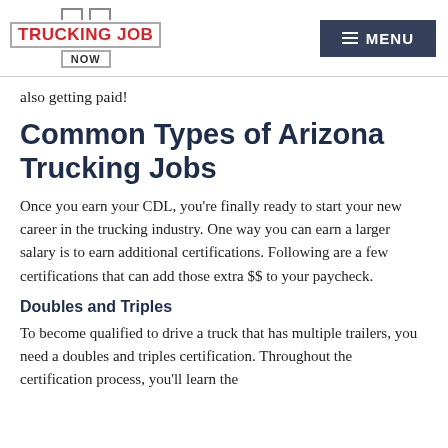TRUCKING JOB NOW | MENU
also getting paid!
Common Types of Arizona Trucking Jobs
Once you earn your CDL, you’re finally ready to start your new career in the trucking industry. One way you can earn a larger salary is to earn additional certifications. Following are a few certifications that can add those extra $$ to your paycheck.
Doubles and Triples
To become qualified to drive a truck that has multiple trailers, you need a doubles and triples certification. Throughout the certification process, you’ll learn the